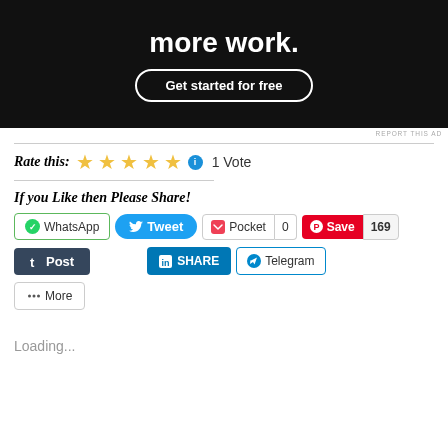[Figure (screenshot): Dark advertisement banner with bold white text 'more work.' and a rounded button 'Get started for free']
REPORT THIS AD
Rate this: ★★★★★ ℹ 1 Vote
If you Like then Please Share!
WhatsApp  Tweet  Pocket 0  Save 169  Post  SHARE  Telegram  More
Loading...